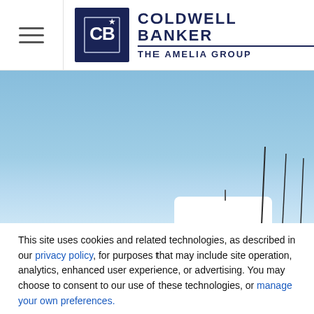Coldwell Banker The Amelia Group
[Figure (photo): Blue sky background with sailboat masts visible at the bottom right corner, serving as a hero/banner image for the Coldwell Banker The Amelia Group website.]
This site uses cookies and related technologies, as described in our privacy policy, for purposes that may include site operation, analytics, enhanced user experience, or advertising. You may choose to consent to our use of these technologies, or manage your own preferences.
Decline
Accept